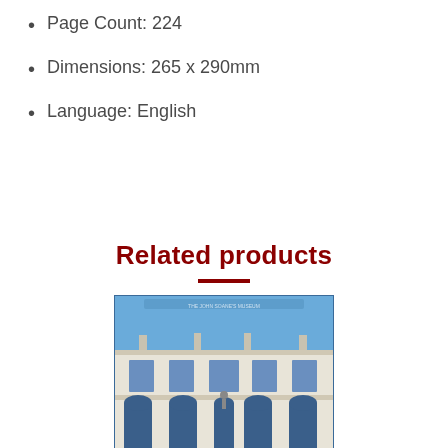Page Count: 224
Dimensions: 265 x 290mm
Language: English
Related products
[Figure (photo): Cover of a book showing a white classical building facade with blue windows and arched doorways, under a blue sky. Small text at top reads related to a museum.]